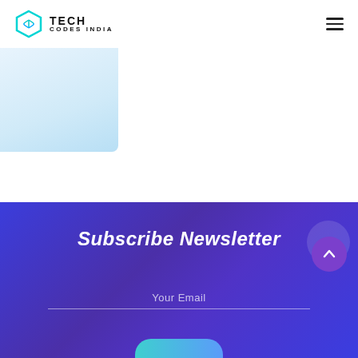TECH CODES INDIA
[Figure (logo): Tech Codes India hexagon logo with 3D cube inside, teal/cyan color, next to bold text TECH CODES INDIA]
[Figure (screenshot): Light blue gradient banner/image area in top-left of the page content area]
Subscribe Newsletter
Your Email
[Figure (illustration): Purple circular scroll-to-top button with upward arrow icon]